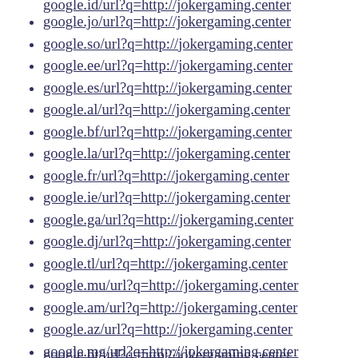google.jo/url?q=http://jokergaming.center
google.so/url?q=http://jokergaming.center
google.ee/url?q=http://jokergaming.center
google.es/url?q=http://jokergaming.center
google.al/url?q=http://jokergaming.center
google.bf/url?q=http://jokergaming.center
google.la/url?q=http://jokergaming.center
google.fr/url?q=http://jokergaming.center
google.ie/url?q=http://jokergaming.center
google.ga/url?q=http://jokergaming.center
google.dj/url?q=http://jokergaming.center
google.tl/url?q=http://jokergaming.center
google.mu/url?q=http://jokergaming.center
google.am/url?q=http://jokergaming.center
google.az/url?q=http://jokergaming.center
google.mg/url?q=http://jokergaming.center
google.ms/url?q=http://jokergaming.center
google.td/url?q=http://jokergaming.center